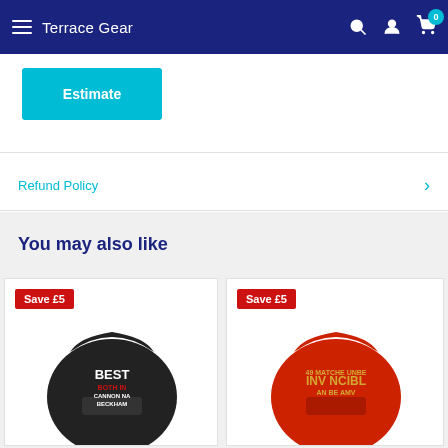Terrace Gear
Estimate
Refund Policy
You may also like
[Figure (photo): Black hoodie with 'BEST' text design showing Save £5 badge]
[Figure (photo): Red hoodie with 'INVINCIBLE' / retro design showing Save £5 badge]